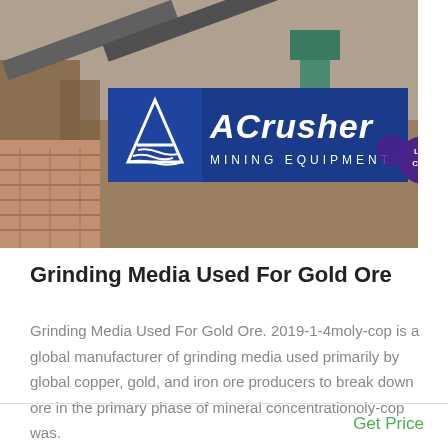[Figure (photo): Mining equipment facility with machinery and conveyor belts, with ACrusher Mining Equipment logo overlay and Live Chat bubble]
Grinding Media Used For Gold Ore
Grinding Media Used For Gold Ore. 2019-1-4moly-cop is a global manufacturer of grinding media used primarily by global copper, gold, and iron ore producers to break down ore in the primary phase of mineral concentrationoly-cop was.
Get Price